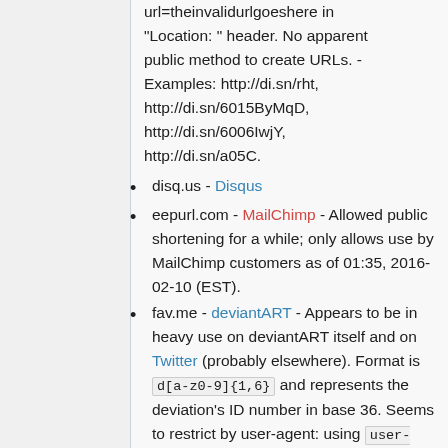url=theinvalidurlgoeshere in "Location: " header. No apparent public method to create URLs. - Examples: http://di.sn/rht, http://di.sn/6015ByMqD, http://di.sn/6006IwjY, http://di.sn/a05C.
disq.us - Disqus
eepurl.com - MailChimp - Allowed public shortening for a while; only allows use by MailChimp customers as of 01:35, 2016-02-10 (EST).
fav.me - deviantART - Appears to be in heavy use on deviantART itself and on Twitter (probably elsewhere). Format is d[a-z0-9]{1,6} and represents the deviation's ID number in base 36. Seems to restrict by user-agent: using user-agent: Mozilla/5.0 (Windows NT